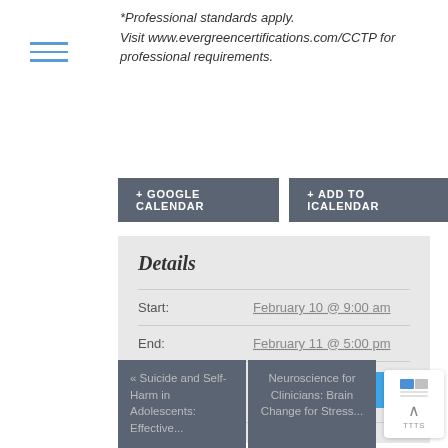*Professional standards apply. Visit www.evergreencertifications.com/CCTP for professional requirements.
+ GOOGLE CALENDAR
+ ADD TO ICALENDAR
Details
| Field | Value |
| --- | --- |
| Start: | February 10 @ 9:00 am |
| End: | February 11 @ 5:00 pm |
| Website: | Register Now |
« Suicide and Self-Harm in Adolescents: Effective...
Neuroscience for Clinicians: Brain Change for Stress...